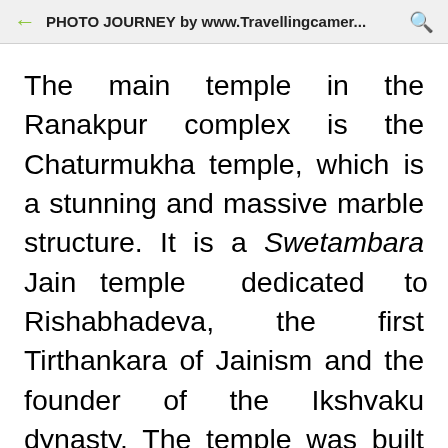PHOTO JOURNEY by www.Travellingcamer...
The main temple in the Ranakpur complex is the Chaturmukha temple, which is a stunning and massive marble structure. It is a Swetambara Jain temple dedicated to Rishabhadeva, the first Tirthankara of Jainism and the founder of the Ikshvaku dynasty. The temple was built in the 15th century and took 50 years to complete. Various sources differ about when the construction